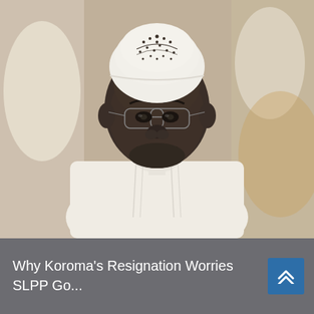[Figure (photo): A smiling African man wearing a white traditional embroidered outfit and a white Muslim kufi cap with decorative dot patterns, photographed outdoors among other people also dressed in white.]
Why Koroma's Resignation Worries SLPP Go...